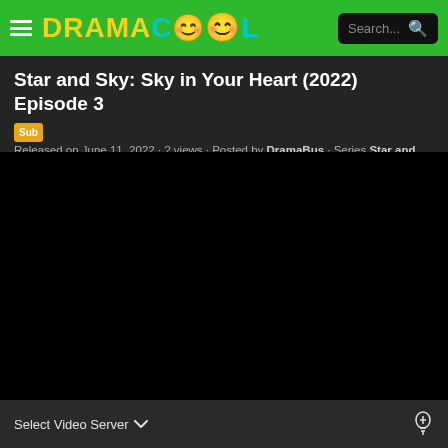DRAMACOOL
Star and Sky: Sky in Your Heart (2022) Episode 3
Sub Released on June 11, 2022 · ? views · Posted by DramaBus · Series Star and Sky: Sky in Your Heart (2022)
[Figure (other): Black video player area]
Select Video Server ▼